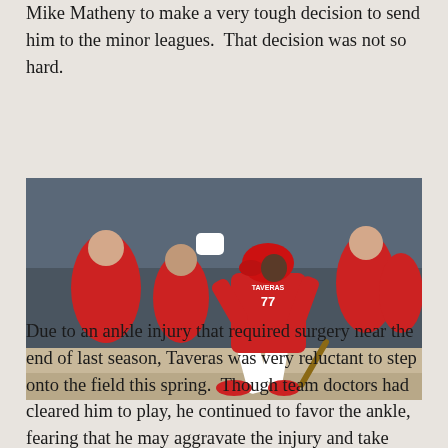Mike Matheny to make a very tough decision to send him to the minor leagues.  That decision was not so hard.
[Figure (photo): Baseball player wearing Cardinals uniform number 77 (TAVERAS) mid-swing at bat, with teammates visible in dugout background wearing red uniforms]
Due to an ankle injury that required surgery near the end of last season, Taveras was very reluctant to step onto the field this spring.  Though team doctors had cleared him to play, he continued to favor the ankle, fearing that he may aggravate the injury and take